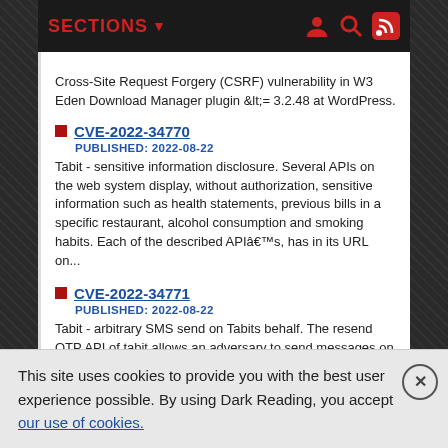SECTIONS
Cross-Site Request Forgery (CSRF) vulnerability in W3 Eden Download Manager plugin &lt;= 3.2.48 at WordPress.
CVE-2022-34770 PUBLISHED: 2022-08-22 Tabit - sensitive information disclosure. Several APIs on the web system display, without authorization, sensitive information such as health statements, previous bills in a specific restaurant, alcohol consumption and smoking habits. Each of the described API&acirc;&euro;&trade;s, has in its URL on...
CVE-2022-34771 PUBLISHED: 2022-08-22 Tabit - arbitrary SMS send on Tabits behalf. The resend OTP API of tabit allows an adversary to send messages on tabits behalf to anyone registered on the system - the API receives the parameters: phone number, and
This site uses cookies to provide you with the best user experience possible. By using Dark Reading, you accept our use of cookies.